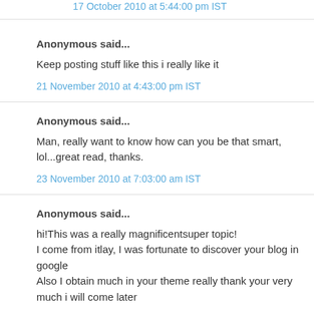17 October 2010 at 5:44:00 pm IST
Anonymous said...
Keep posting stuff like this i really like it
21 November 2010 at 4:43:00 pm IST
Anonymous said...
Man, really want to know how can you be that smart, lol...great read, thanks.
23 November 2010 at 7:03:00 am IST
Anonymous said...
hi!This was a really magnificentsuper topic!
I come from itlay, I was fortunate to discover your blog in google
Also I obtain much in your theme really thank your very much i will come later